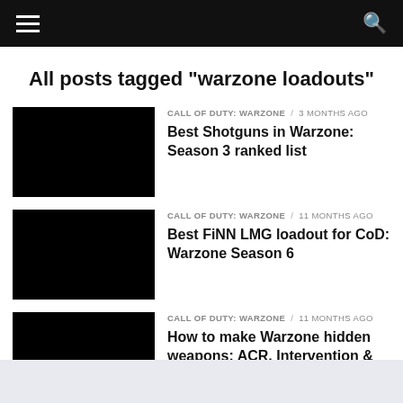Menu / Search
All posts tagged "warzone loadouts"
[Figure (photo): Black thumbnail image for Best Shotguns in Warzone post]
CALL OF DUTY: WARZONE / 3 months ago
Best Shotguns in Warzone: Season 3 ranked list
[Figure (photo): Black thumbnail image for Best FiNN LMG loadout post]
CALL OF DUTY: WARZONE / 11 months ago
Best FiNN LMG loadout for CoD: Warzone Season 6
[Figure (photo): Black thumbnail image for How to make Warzone hidden weapons post]
CALL OF DUTY: WARZONE / 11 months ago
How to make Warzone hidden weapons: ACR, Intervention &